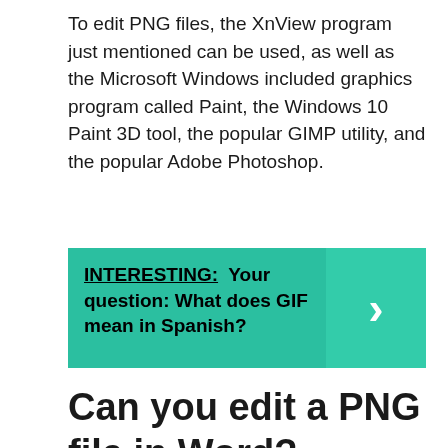To edit PNG files, the XnView program just mentioned can be used, as well as the Microsoft Windows included graphics program called Paint, the Windows 10 Paint 3D tool, the popular GIMP utility, and the popular Adobe Photoshop.
[Figure (infographic): Teal callout box with bold text: INTERESTING: Your question: What does GIF mean in Spanish? with a right-arrow chevron on the right side in a slightly darker teal panel.]
Can you edit a PNG file in Word?
Once you've used the PNG to Word converter and have your document as a text file in Microsoft Word, you can freely edit it as any ordinary Word document.